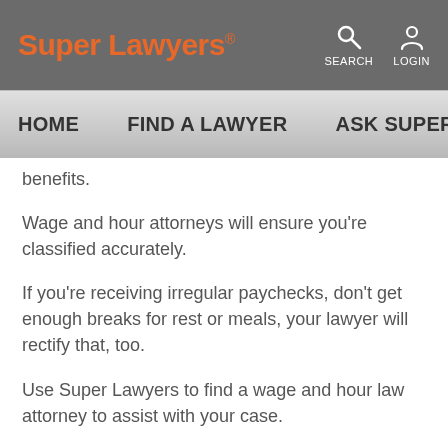Super Lawyers · SEARCH · LOGIN
HOME   FIND A LAWYER   ASK SUPER L...
benefits.
Wage and hour attorneys will ensure you're classified accurately.
If you're receiving irregular paychecks, don't get enough breaks for rest or meals, your lawyer will rectify that, too.
Use Super Lawyers to find a wage and hour law attorney to assist with your case.
Are you searching for a top wage & hour laws lawyer in Wappinger, New York?
Through the Super Lawyers directory, we index attorneys